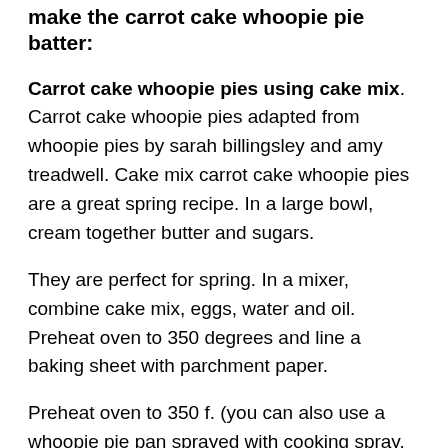make the carrot cake whoopie pie batter:
Carrot cake whoopie pies using cake mix. Carrot cake whoopie pies adapted from whoopie pies by sarah billingsley and amy treadwell. Cake mix carrot cake whoopie pies are a great spring recipe. In a large bowl, cream together butter and sugars.
They are perfect for spring. In a mixer, combine cake mix, eggs, water and oil. Preheat oven to 350 degrees and line a baking sheet with parchment paper.
Preheat oven to 350 f. (you can also use a whoopie pie pan sprayed with cooking spray. Line baking sheets with parchment paper or silicone baking mats.